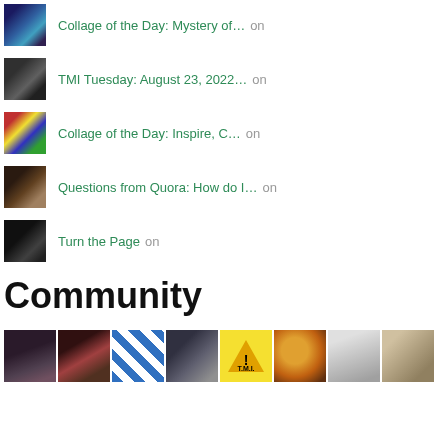Collage of the Day: Mystery of… on
TMI Tuesday: August 23, 2022… on
Collage of the Day: Inspire, C… on
Questions from Quora: How do I… on
Turn the Page on
Community
[Figure (photo): Community grid of thumbnail images showing various blog profile and post images]